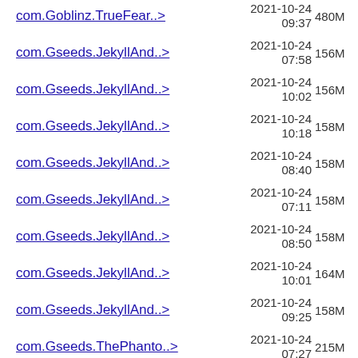com.Goblinz.TrueFear..> 2021-10-24 09:37 480M
com.Gseeds.JekyllAnd..> 2021-10-24 07:58 156M
com.Gseeds.JekyllAnd..> 2021-10-24 10:02 156M
com.Gseeds.JekyllAnd..> 2021-10-24 10:18 158M
com.Gseeds.JekyllAnd..> 2021-10-24 08:40 158M
com.Gseeds.JekyllAnd..> 2021-10-24 07:11 158M
com.Gseeds.JekyllAnd..> 2021-10-24 08:50 158M
com.Gseeds.JekyllAnd..> 2021-10-24 10:01 164M
com.Gseeds.JekyllAnd..> 2021-10-24 09:25 158M
com.Gseeds.ThePhanto..> 2021-10-24 07:27 215M
com.HD_animation.Gra..> 2021-10-24 06:45 114M
HFNMC...Shinin.. 2021-10-24 ...M